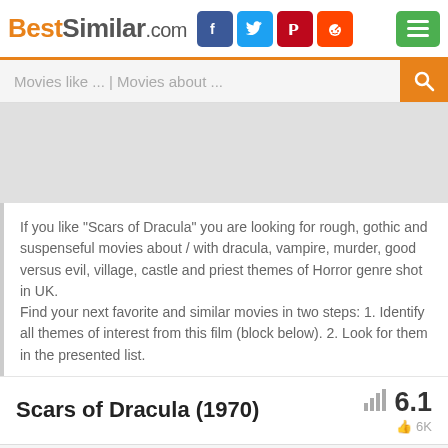BestSimilar.com
Movies like ... | Movies about ...
[Figure (other): Gray advertisement placeholder area]
If you like "Scars of Dracula" you are looking for rough, gothic and suspenseful movies about / with dracula, vampire, murder, good versus evil, village, castle and priest themes of Horror genre shot in UK.
Find your next favorite and similar movies in two steps: 1. Identify all themes of interest from this film (block below). 2. Look for them in the presented list.
Scars of Dracula (1970)
6.1  👍 6K
Cookies help us deliver our services. By using our website or clicking "Accept", you agree to our use of cookies as described in our Privacy Policy.